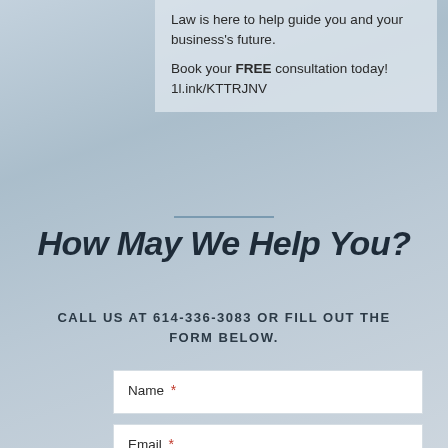Law is here to help guide you and your business's future.

Book your FREE consultation today! 1l.ink/KTTRJNV
How May We Help You?
CALL US AT 614-336-3083 OR FILL OUT THE FORM BELOW.
Name *
Email *